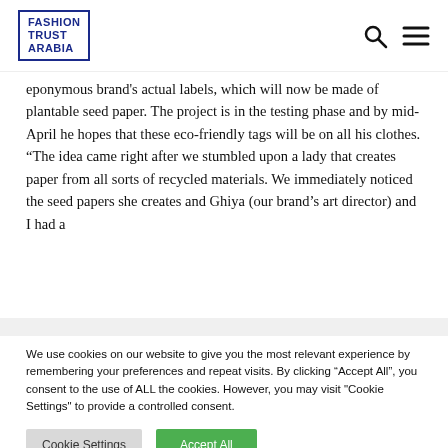FASHION TRUST ARABIA
eponymous brand's actual labels, which will now be made of plantable seed paper. The project is in the testing phase and by mid-April he hopes that these eco-friendly tags will be on all his clothes. “The idea came right after we stumbled upon a lady that creates paper from all sorts of recycled materials. We immediately noticed the seed papers she creates and Ghiya (our brand’s art director) and I had a
We use cookies on our website to give you the most relevant experience by remembering your preferences and repeat visits. By clicking “Accept All”, you consent to the use of ALL the cookies. However, you may visit "Cookie Settings" to provide a controlled consent.
Cookie Settings
Accept All